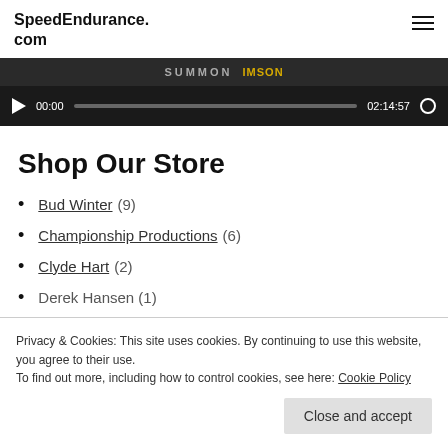SpeedEndurance.com
[Figure (screenshot): Video player with thumbnail showing blurred text, play button, time 00:00, progress bar, total time 02:14:57, and fullscreen button on dark background]
Shop Our Store
Bud Winter (9)
Championship Productions (6)
Clyde Hart (2)
Derek Hansen (1)
Privacy & Cookies: This site uses cookies. By continuing to use this website, you agree to their use.
To find out more, including how to control cookies, see here: Cookie Policy